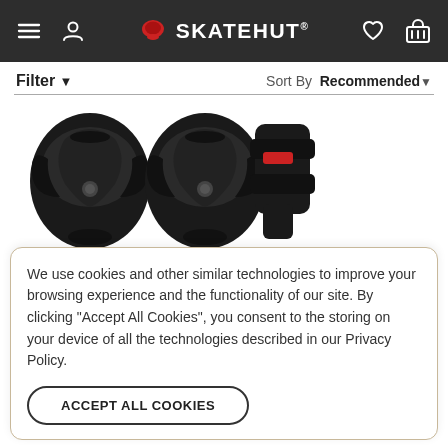SkateHut
Filter ▼   Sort By  Recommended▼
[Figure (photo): Three black protective pads/guards for skating: two knee pads and one wrist guard, all black with SkateHut branding.]
We use cookies and other similar technologies to improve your browsing experience and the functionality of our site. By clicking "Accept All Cookies", you consent to the storing on your device of all the technologies described in our Privacy Policy.
ACCEPT ALL COOKIES